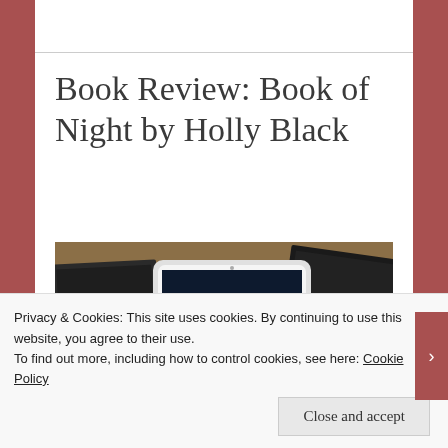Book Review: Book of Night by Holly Black
[Figure (photo): Photo of a tablet displaying the cover of 'Book of Night' by Holly Black, surrounded by dark hardcover books and a white flower on a wooden table.]
Privacy & Cookies: This site uses cookies. By continuing to use this website, you agree to their use.
To find out more, including how to control cookies, see here: Cookie Policy
Close and accept